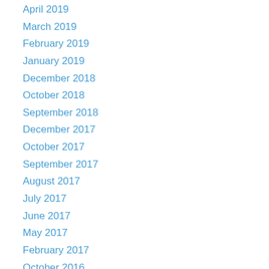April 2019
March 2019
February 2019
January 2019
December 2018
October 2018
September 2018
December 2017
October 2017
September 2017
August 2017
July 2017
June 2017
May 2017
February 2017
October 2016
September 2016
August 2016
July 2016
June 2016